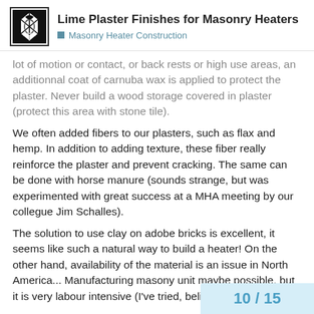Lime Plaster Finishes for Masonry Heaters — Masonry Heater Construction
lot of motion or contact, or back rests or high use areas, an additionnal coat of carnuba wax is applied to protect the plaster. Never build a wood storage covered in plaster (protect this area with stone tile).
We often added fibers to our plasters, such as flax and hemp. In addition to adding texture, these fiber really reinforce the plaster and prevent cracking. The same can be done with horse manure (sounds strange, but was experimented with great success at a MHA meeting by our collegue Jim Schalles).
The solution to use clay on adobe bricks is excellent, it seems like such a natural way to build a heater! On the other hand, availability of the material is an issue in North America... Manufacturing masony unit maybe possible, but it is very labour intensive (I've tried, believe me…).
There is a lot more to say on this matter… But enough for now!
10 / 15